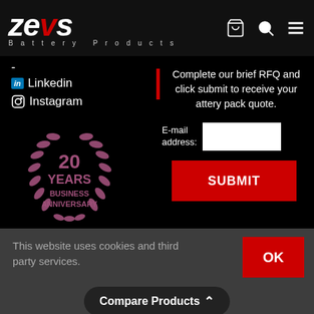[Figure (logo): Zeus Battery Products logo — stylized ZEUS in white italic bold with red lightning bolt U letter, and 'Battery Products' in spaced grey text below]
-
in Linkedin
Instagram
[Figure (illustration): 20 Years Business Anniversary badge in pink/mauve with laurel wreath design]
Complete our brief RFQ and click submit to receive your attery pack quote.
E-mail address:
SUBMIT
This website uses cookies and third party services.
OK
Compare Products